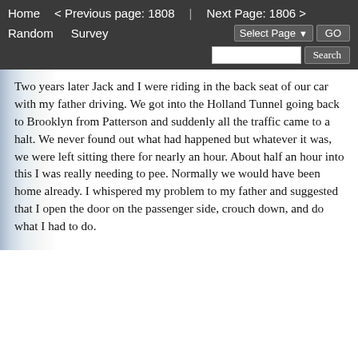Home   < Previous page: 1808   |   Next Page: 1806 >
Random   Survey   Select Page ▾   GO
Search
Two years later Jack and I were riding in the back seat of our car with my father driving. We got into the Holland Tunnel going back to Brooklyn from Patterson and suddenly all the traffic came to a halt. We never found out what had happened but whatever it was, we were left sitting there for nearly an hour. About half an hour into this I was really needing to pee. Normally we would have been home already. I whispered my problem to my father and suggested that I open the door on the passenger side, crouch down, and do what I had to do.
"No way! The tunnel is monitored on video and if they see you I'll be in for one hell of a ticket," he whispered back to me. To emphasize the point, he locked the doors so I couldn't open one if I wanted to. Every minute seemed like ten and I was really squirming. I again leaned forward and whispered my now more urgent problem to my father.
"You not sticking your butt out of the car to pee in on